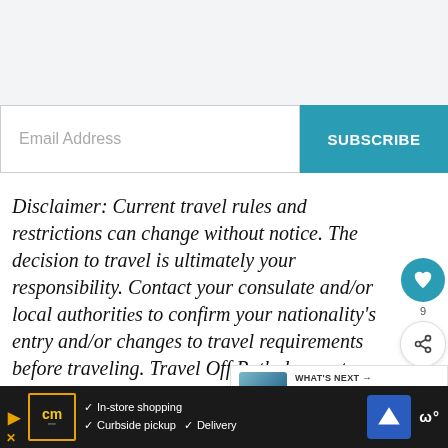[Figure (screenshot): Email subscription input field with placeholder text 'Email Address' and a teal 'SUBSCRIBE' button to the right.]
Disclaimer: Current travel rules and restrictions can change without notice. The decision to travel is ultimately your responsibility. Contact your consulate and/or local authorities to confirm your nationality's entry and/or changes to travel requirements before traveling. Travel Off Path does not endorse traveling against...
[Figure (screenshot): WHAT'S NEXT widget showing thumbnail image of coastline and text 'Top 10 Off The Beaten Path...']
[Figure (screenshot): Bottom advertisement bar with CM logo, checkmarks for In-store shopping, Curbside pickup, and Delivery, plus navigation and Walmart icons.]